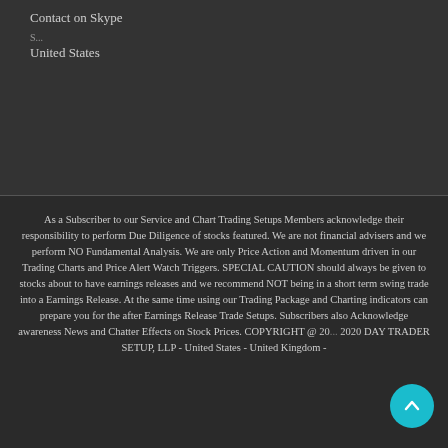Contact on Skype
United States
As a Subscriber to our Service and Chart Trading Setups Members acknowledge their responsibility to perform Due Diligence of stocks featured. We are not financial advisers and we perform NO Fundamental Analysis. We are only Price Action and Momentum driven in our Trading Charts and Price Alert Watch Triggers. SPECIAL CAUTION should always be given to stocks about to have earnings releases and we recommend NOT being in a short term swing trade into a Earnings Release. At the same time using our Trading Package and Charting indicators can prepare you for the after Earnings Release Trade Setups. Subscribers also Acknowledge awareness News and Chatter Effects on Stock Prices. COPYRIGHT @ 2020 2020 DAY TRADER SETUP, LLP - United States - United Kingdom -